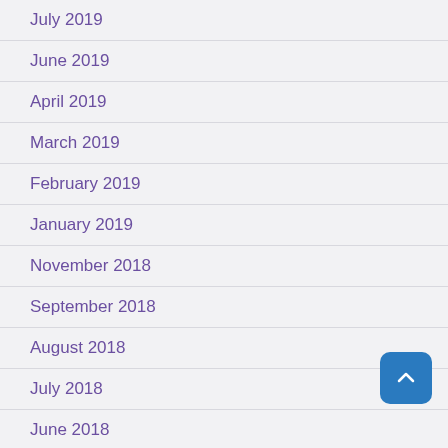July 2019
June 2019
April 2019
March 2019
February 2019
January 2019
November 2018
September 2018
August 2018
July 2018
June 2018
May 2018